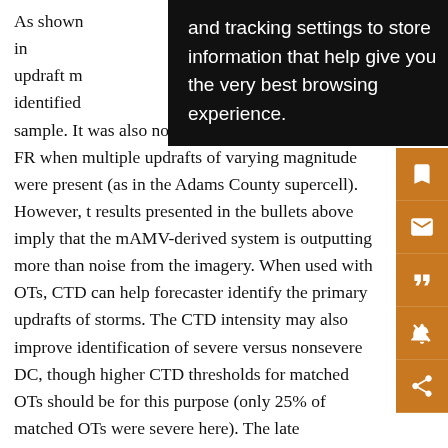As shown … identify DC and in … updraft m … identified … sample. It was also not correlated to total lightning FR when multiple updrafts of varying magnitude were present (as in the Adams County supercell). However, the results presented in the bullets above imply that the mAMV-derived system is outputting more than noise from the imagery. When used with OTs, CTD can help forecaster identify the primary updrafts of storms. The CTD intensity may also improve identification of severe versus nonsevere DC, though higher CTD thresholds for matched OTs should be for this purpose (only 25% of matched OTs were severe here). The late development of CTD in DC implies that lead time for severe weather